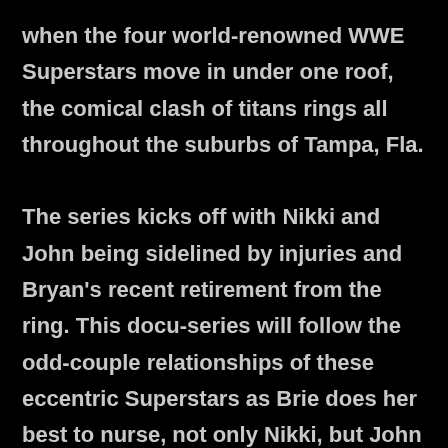when the four world-renowned WWE Superstars move in under one roof, the comical clash of titans rings all throughout the suburbs of Tampa, Fla.

The series kicks off with Nikki and John being sidelined by injuries and Bryan's recent retirement from the ring. This docu-series will follow the odd-couple relationships of these eccentric Superstars as Brie does her best to nurse, not only Nikki, but John and Bryan back to health, all while trying to retain their sanity. With Nikki's recent neck surgery, Brie's retirement at WrestleMania, Bryan's untimely